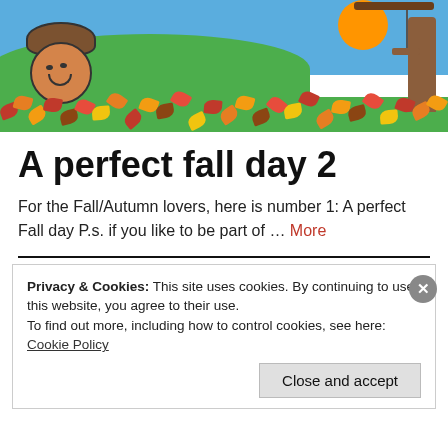[Figure (illustration): Cartoon autumn scene: happy acorn character on left, tree trunk with swing on right, colorful fall leaves across the bottom, blue sky with orange sun, green hill in background]
A perfect fall day 2
For the Fall/Autumn lovers, here is number 1: A perfect Fall day P.s. if you like to be part of … More
Privacy & Cookies: This site uses cookies. By continuing to use this website, you agree to their use. To find out more, including how to control cookies, see here: Cookie Policy
Close and accept